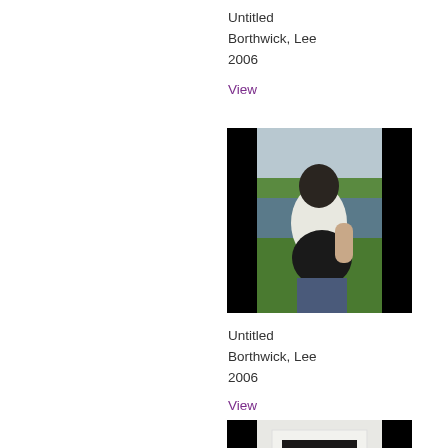Untitled
Borthwick, Lee
2006
View
[Figure (photo): Photograph of a person seen from behind wearing a white t-shirt and holding a dark bag, standing in a green outdoor landscape with water in the background. The image has black side bars.]
Untitled
Borthwick, Lee
2006
View
[Figure (photo): Photograph showing a framed artwork or print hanging on a white wall, with a dark/blurred abstract image inside the frame. The image has black side bars.]